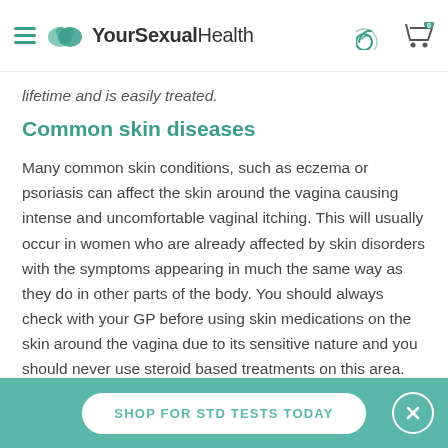YourSexualHealth
lifetime and is easily treated.
Common skin diseases
Many common skin conditions, such as eczema or psoriasis can affect the skin around the vagina causing intense and uncomfortable vaginal itching. This will usually occur in women who are already affected by skin disorders with the symptoms appearing in much the same way as they do in other parts of the body. You should always check with your GP before using skin medications on the skin around the vagina due to its sensitive nature and you should never use steroid based treatments on this area.
SHOP FOR STD TESTS TODAY